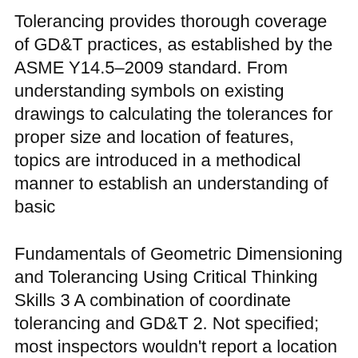Tolerancing provides thorough coverage of GD&T practices, as established by the ASME Y14.5–2009 standard. From understanding symbols on existing drawings to calculating the tolerances for proper size and location of features, topics are introduced in a methodical manner to establish an understanding of basic
Fundamentals of Geometric Dimensioning and Tolerancing Using Critical Thinking Skills 3 A combination of coordinate tolerancing and GD&T 2. Not specified; most inspectors wouldn't report a location for the hole 3. None; there is no location relationship tolerance (geometric tolerance) for this